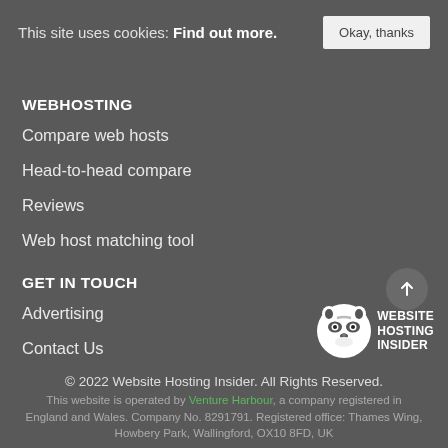This site uses cookies: Find out more.
Okay, thanks
WEBHOSTING
Compare web hosts
Head-to-head compare
Reviews
Web host matching tool
GET IN TOUCH
Advertising
Contact Us
[Figure (logo): Website Hosting Insider raccoon logo with text]
© 2022 Website Hosting Insider. All Rights Reserved. This website is operated by Venture Harbour, a company registered in England and Wales. Company No. 8291791. Registered office: Thames Wing, Howbery Park, Wallingford, OX10 8FD, UK